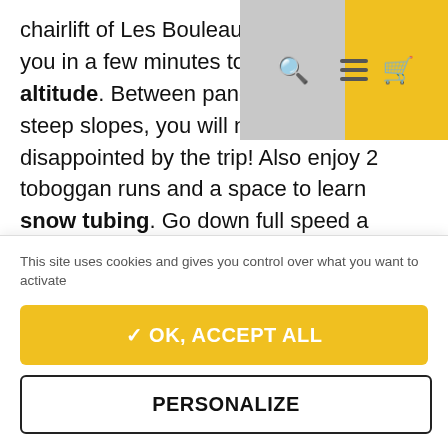chairlift of Les Bouleaux, which takes you in a few minutes to 2200m altitude. Between panoramas and steep slopes, you will not be disappointed by the trip! Also enjoy 2 toboggan runs and a space to learn snow tubing. Go down full speed a prepared track with only one equipment... a buoy. Strong sensations on the program! In short, Pla d'Adet is the ideal place for
This site uses cookies and gives you control over what you want to activate
✓ OK, ACCEPT ALL
PERSONALIZE